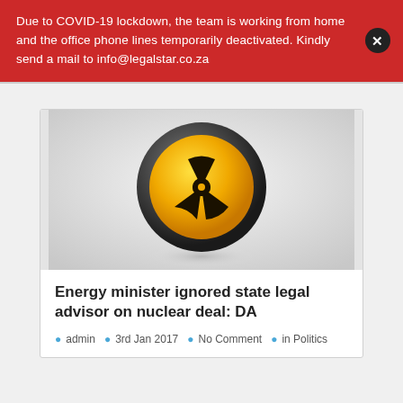Due to COVID-19 lockdown, the team is working from home and the office phone lines temporarily deactivated. Kindly send a mail to info@legalstar.co.za
[Figure (illustration): Radioactive / nuclear warning symbol — a yellow and black radiation hazard button icon on a grey gradient background]
Energy minister ignored state legal advisor on nuclear deal: DA
admin  3rd Jan 2017  No Comment  in Politics